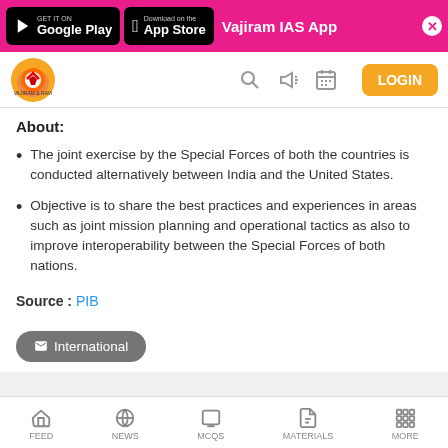[Figure (screenshot): App store download banner with Google Play and App Store buttons for Vajiram IAS App]
[Figure (logo): Vajiram and Ravi logo with navigation icons and LOGIN button]
About:
The joint exercise by the Special Forces of both the countries is conducted alternatively between India and the United States.
Objective is to share the best practices and experiences in areas such as joint mission planning and operational tactics as also to improve interoperability between the Special Forces of both nations.
Source : PIB
International
FEED  NEWS  MCQS  MATERIALS  MORE